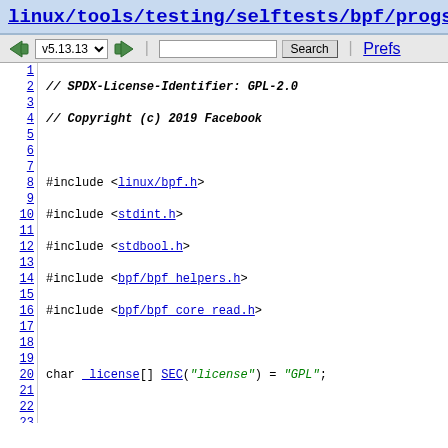linux/tools/testing/selftests/bpf/progs/test_core
Toolbar with version selector v5.13.13, search box, Search button, Prefs link
1  // SPDX-License-Identifier: GPL-2.0
2  // Copyright (c) 2019 Facebook
3
4  #include <linux/bpf.h>
5  #include <stdint.h>
6  #include <stdbool.h>
7  #include <bpf/bpf_helpers.h>
8  #include <bpf/bpf_core_read.h>
9
10 char _license[] SEC("license") = "GPL";
11
12 struct {
13         char in[256];
14         char out[256];
15         bool skip;
16         uint64_t my_pid_tgid;
17 } data = {};
18
19 struct core_reloc_kernel_output {
20         int valid[10];
21         /* we have test_progs[-flavor], so cut flav
22         char comm[sizeof("test_progs")];
23         int comm_len;